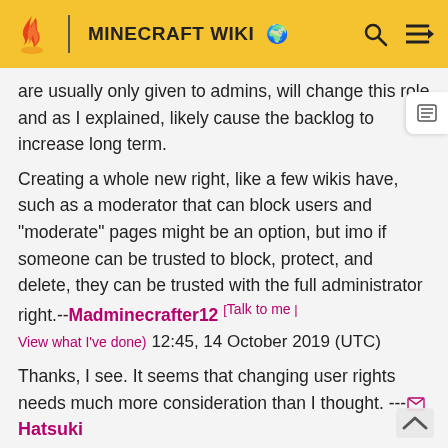MINECRAFT WIKI
are usually only given to admins, will change this role and as I explained, likely cause the backlog to increase long term.
Creating a whole new right, like a few wikis have, such as a moderator that can block users and "moderate" pages might be an option, but imo if someone can be trusted to block, protect, and delete, they can be trusted with the full administrator right.--Madminecrafter12 [Talk to me | View what I've done] 12:45, 14 October 2019 (UTC)
Thanks, I see. It seems that changing user rights needs much more consideration than I thought. ---Hatsuki kiri 13:12, 14 October 2019 (UTC)
Semi-Protect Bedrock Edition 1.13.0